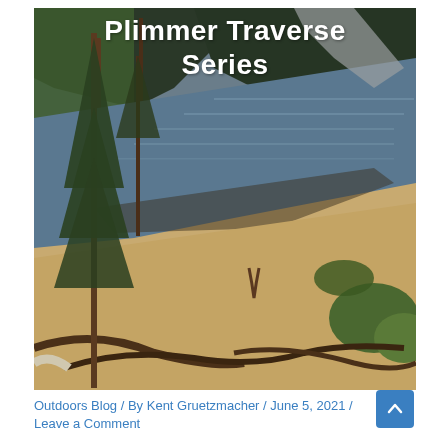[Figure (photo): Outdoor mountain lake scene with sandy beach in foreground, pine trees on left, fallen logs, calm lake water reflecting forested mountain slopes, with overlaid white bold text reading 'Plimmer Traverse Series']
Plimmer Traverse Series
Outdoors Blog / By Kent Gruetzmacher / June 5, 2021 / Leave a Comment